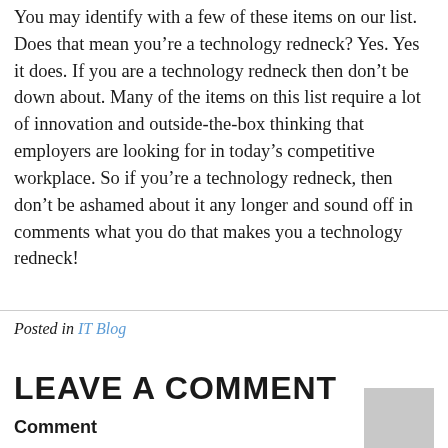You may identify with a few of these items on our list. Does that mean you’re a technology redneck? Yes. Yes it does. If you are a technology redneck then don’t be down about. Many of the items on this list require a lot of innovation and outside-the-box thinking that employers are looking for in today’s competitive workplace. So if you’re a technology redneck, then don’t be ashamed about it any longer and sound off in comments what you do that makes you a technology redneck!
Posted in IT Blog
LEAVE A COMMENT
Comment